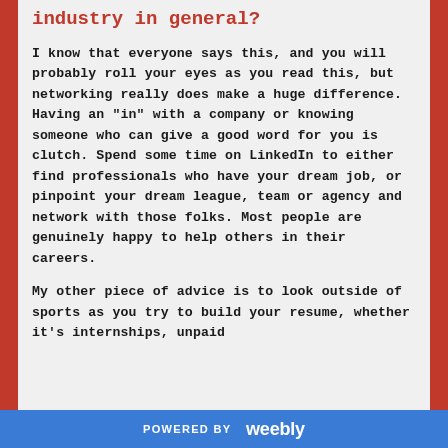industry in general?
I know that everyone says this, and you will probably roll your eyes as you read this, but networking really does make a huge difference. Having an "in" with a company or knowing someone who can give a good word for you is clutch. Spend some time on LinkedIn to either find professionals who have your dream job, or pinpoint your dream league, team or agency and network with those folks. Most people are genuinely happy to help others in their careers.

My other piece of advice is to look outside of sports as you try to build your resume, whether it's internships, unpaid
POWERED BY weebly